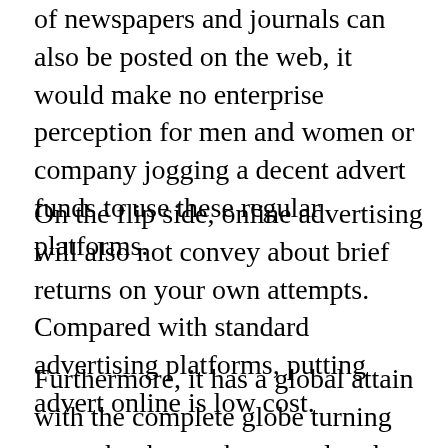of newspapers and journals can also be posted on the web, it would make no enterprise perception for men and women or company jogging a decent advert funds to use these regular platforms.
On the flip side, online advertising will also not convey about brief returns on your own attempts. Compared with standard advertising platforms, putting advert online is low cost.
Furthermore, it has a global attain with the complete globe turning out to be the market exactly where customers and sellers meet